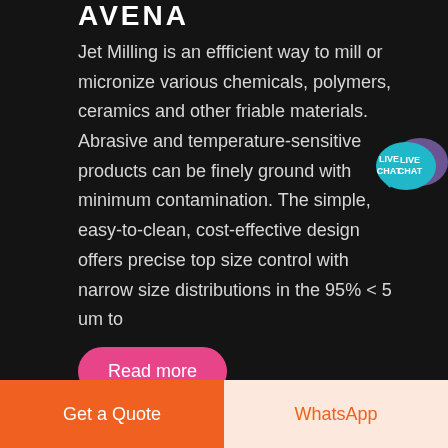AVENA
Jet Milling is an effficient way to mill or micronize various chemicals, polymers, ceramics and other friable materials. Abrasive and temperature-sensitive products can be finely ground with minimum contamination. The simple, easy-to-clean, cost-effective design offers precise top size control with narrow size distributions in the 95% < 5 um to ...
[Figure (other): Live Chat speech bubble icon with teal/purple colors and text LIVE CHAT]
Read more
Get a Quote
WhatsApp